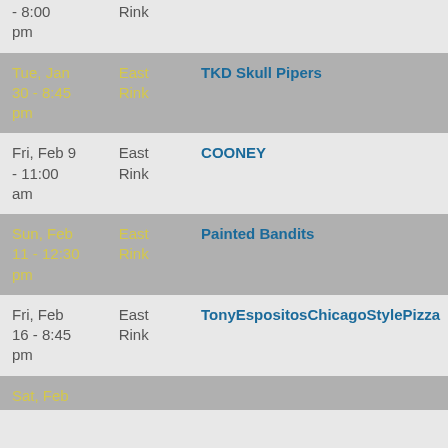| Date | Rink | Team |
| --- | --- | --- |
| (partial) - 8:00 pm | Rink | Barnyard Boys |
| Tue, Jan 30 - 8:45 pm | East Rink | TKD Skull Pipers |
| Fri, Feb 9 - 11:00 am | East Rink | COONEY |
| Sun, Feb 11 - 12:30 pm | East Rink | Painted Bandits |
| Fri, Feb 16 - 8:45 pm | East Rink | TonyEspositosChicagoStylePizza |
| Sat, Feb (partial) |  |  |